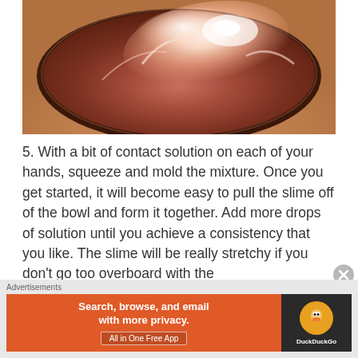[Figure (photo): Top-down photo of a bowl containing pink/salmon colored slime mixture being pulled from the sides, viewed from above on a wooden surface]
5. With a bit of contact solution on each of your hands, squeeze and mold the mixture. Once you get started, it will become easy to pull the slime off of the bowl and form it together. Add more drops of solution until you achieve a consistency that you like. The slime will be really stretchy if you don't go too overboard with the
Advertisements
Search, browse, and email with more privacy.
All in One Free App
DuckDuckGo